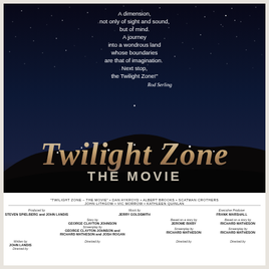[Figure (illustration): Movie poster for Twilight Zone: The Movie. Dark night sky background with stars, silhouetted hills, large stylized title text 'TWILIGHT ZONE THE MOVIE', a Rod Serling quote at the top, and cast/crew credits at the bottom on white strip.]
A dimension, not only of sight and sound, but of mind. A journey into a wondrous land whose boundaries are that of imagination. Next stop, the Twilight Zone!"
Rod Serling
TWILIGHT ZONE THE MOVIE
"TWILIGHT ZONE – THE MOVIE" • DAN AYKROYD • ALBERT BROOKS • SCATMAN CROTHERS JOHN LITHGOW • VIC MORROW • KATHLEEN QUINLAN
| Col1 | Col2 | Col3 | Col4 |
| --- | --- | --- | --- |
| Produced by
STEVEN SPIELBERG and JOHN LANDIS | Music by
JERRY GOLDSMITH |  | Executive Producer
FRANK MARSHALL |
|  | Story by
GEORGE CLAYTON JOHNSON
Screenplay by
GEORGE CLAYTON JOHNSON and
RICHARD MATHESON and JOSH ROGAN | Based on a story by
JEROME BIXBY

Screenplay by
RICHARD MATHESON | Based on a story by
RICHARD MATHESON

Screenplay by
RICHARD MATHESON |
| Written by
JOHN LANDIS
Directed by | Directed by | Directed by | Directed by |